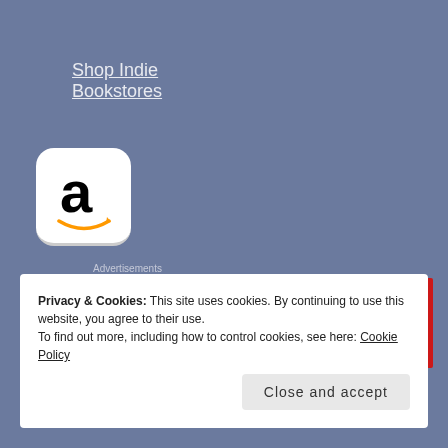Shop Indie Bookstores
[Figure (logo): Amazon logo: white rounded square with large black lowercase 'a' and orange smile arrow beneath]
Advertisements
[Figure (other): Pocket Casts advertisement banner: red background with text 'An app by listeners, for listeners.' and Pocket Casts logo on right, phone mockup in center]
REPORT THIS AD
Privacy & Cookies: This site uses cookies. By continuing to use this website, you agree to their use.
To find out more, including how to control cookies, see here: Cookie Policy
Close and accept